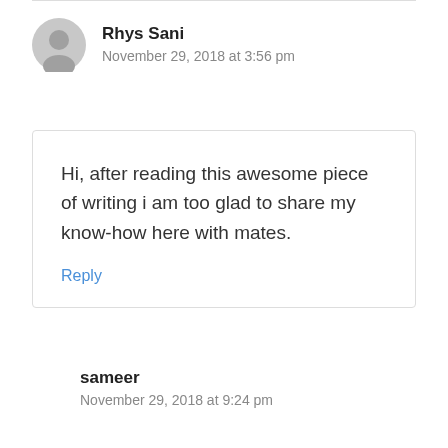Rhys Sani
November 29, 2018 at 3:56 pm
Hi, after reading this awesome piece of writing i am too glad to share my know-how here with mates.
Reply
sameer
November 29, 2018 at 9:24 pm